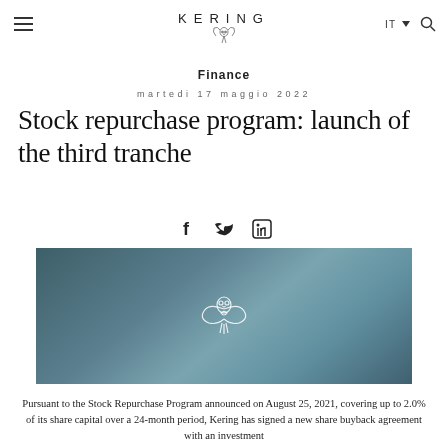KERING
Finance
martedi 17 maggio 2022
Stock repurchase program: launch of the third tranche
[Figure (logo): Kering owl logo in white outline on blue-grey gradient background]
Pursuant to the Stock Repurchase Program announced on August 25, 2021, covering up to 2.0% of its share capital over a 24-month period, Kering has signed a new share buyback agreement with an investment